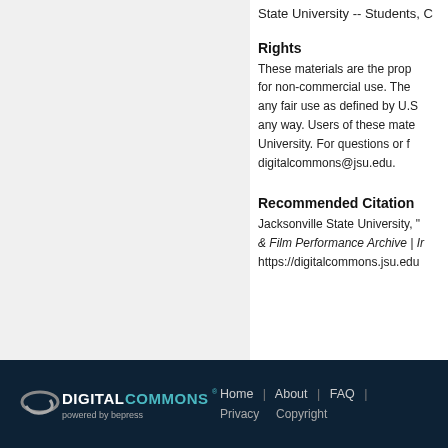State University -- Students, C
Rights
These materials are the prop for non-commercial use. The any fair use as defined by U.S any way. Users of these mate University. For questions or f digitalcommons@jsu.edu.
Recommended Citation
Jacksonville State University, "N & Film Performance Archive | Ir https://digitalcommons.jsu.edu
DIGITAL COMMONS powered by bepress | Home | About | FAQ | Privacy | Copyright